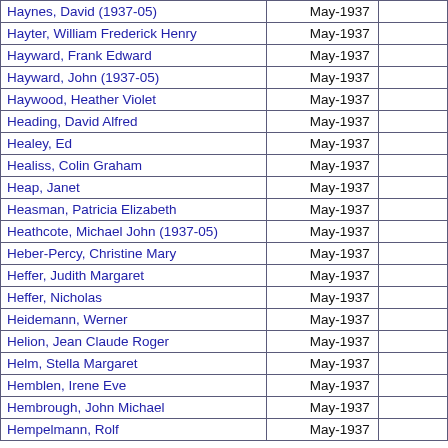| Name | Date |  |
| --- | --- | --- |
| Haynes, David (1937-05) | May-1937 |  |
| Hayter, William Frederick Henry | May-1937 |  |
| Hayward, Frank Edward | May-1937 |  |
| Hayward, John (1937-05) | May-1937 |  |
| Haywood, Heather Violet | May-1937 |  |
| Heading, David Alfred | May-1937 |  |
| Healey, Ed | May-1937 |  |
| Healiss, Colin Graham | May-1937 |  |
| Heap, Janet | May-1937 |  |
| Heasman, Patricia Elizabeth | May-1937 |  |
| Heathcote, Michael John (1937-05) | May-1937 |  |
| Heber-Percy, Christine Mary | May-1937 |  |
| Heffer, Judith Margaret | May-1937 |  |
| Heffer, Nicholas | May-1937 |  |
| Heidemann, Werner | May-1937 |  |
| Helion, Jean Claude Roger | May-1937 |  |
| Helm, Stella Margaret | May-1937 |  |
| Hemblen, Irene Eve | May-1937 |  |
| Hembrough, John Michael | May-1937 |  |
| Hempelmann, Rolf | May-1937 |  |